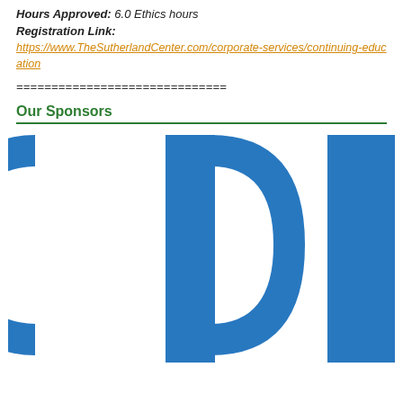Hours Approved: 6.0 Ethics hours
Registration Link:
https://www.TheSutherlandCenter.com/corporate-services/continuing-education
==============================
Our Sponsors
[Figure (logo): CDH logo showing large blue letters C, D, H on white background]